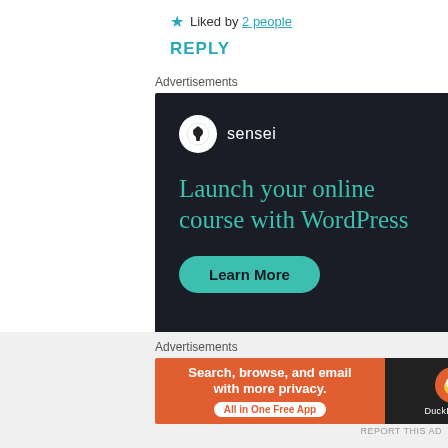★ Liked by 2 people
REPLY
Advertisements
[Figure (other): Sensei advertisement: Launch your online course with WordPress. Learn More button. Powered by WordPress.com]
REPORT THIS AD
Advertisements
[Figure (other): DuckDuckGo advertisement: Search, browse, and email with more privacy. All in One Free App.]